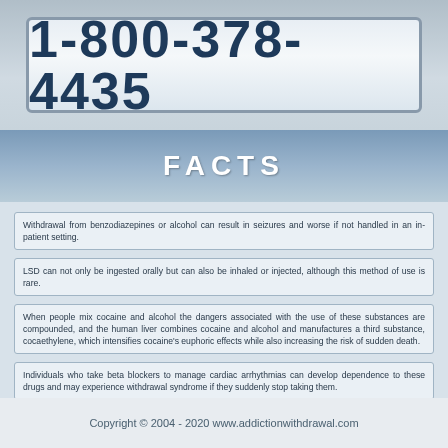[Figure (other): Phone number banner showing 1-800-378-4435 in large bold text on a light gradient background with border]
FACTS
Withdrawal from benzodiazepines or alcohol can result in seizures and worse if not handled in an in-patient setting.
LSD can not only be ingested orally but can also be inhaled or injected, although this method of use is rare.
When people mix cocaine and alcohol the dangers associated with the use of these substances are compounded, and the human liver combines cocaine and alcohol and manufactures a third substance, cocaethylene, which intensifies cocaine's euphoric effects while also increasing the risk of sudden death.
Individuals who take beta blockers to manage cardiac arrhythmias can develop dependence to these drugs and may experience withdrawal syndrome if they suddenly stop taking them.
Copyright © 2004 - 2020 www.addictionwithdrawal.com